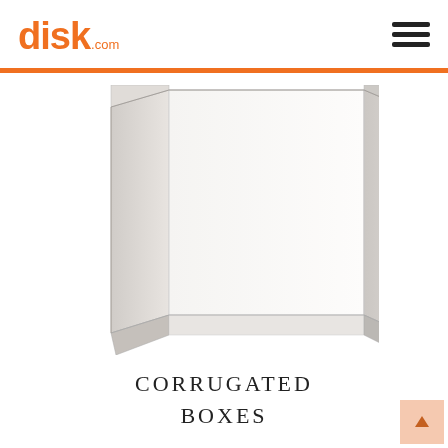disk.com
[Figure (photo): A white corrugated cardboard box photographed against a white background, shown from the front with flaps open at top.]
CORRUGATED BOXES